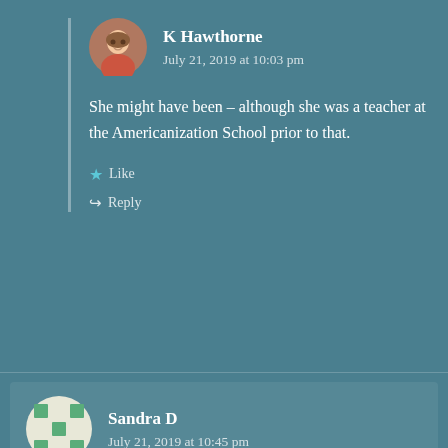K Hawthorne
July 21, 2019 at 10:03 pm
She might have been – although she was a teacher at the Americanization School prior to that.
Like
Reply
Sandra D
July 21, 2019 at 10:45 pm
K hawthorn can you email me please?